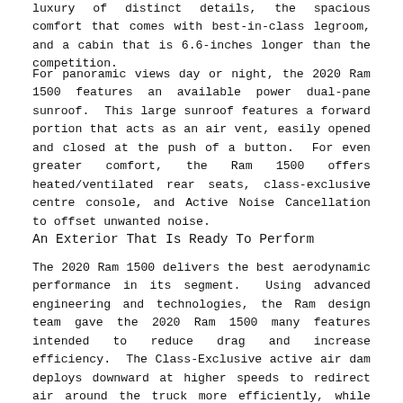luxury of distinct details, the spacious comfort that comes with best-in-class legroom, and a cabin that is 6.6-inches longer than the competition.
For panoramic views day or night, the 2020 Ram 1500 features an available power dual-pane sunroof.  This large sunroof features a forward portion that acts as an air vent, easily opened and closed at the push of a button.  For even greater comfort, the Ram 1500 offers heated/ventilated rear seats, class-exclusive centre console, and Active Noise Cancellation to offset unwanted noise.
An Exterior That Is Ready To Perform
The 2020 Ram 1500 delivers the best aerodynamic performance in its segment.  Using advanced engineering and technologies, the Ram design team gave the 2020 Ram 1500 many features intended to reduce drag and increase efficiency.  The Class-Exclusive active air dam deploys downward at higher speeds to redirect air around the truck more efficiently, while the available Class-Exclusive Active-Level Four Corner Air Suspension lowers the vehicle at highway speeds to increase efficiency.